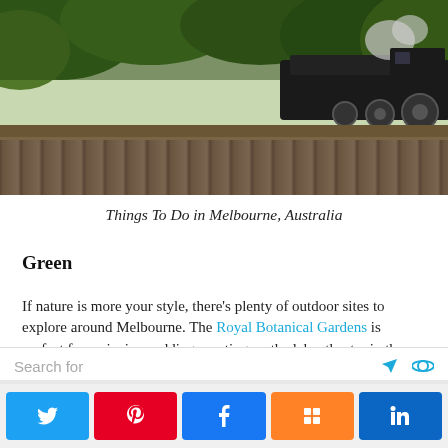[Figure (photo): A steam locomotive on a wooden trestle bridge surrounded by lush green ferns and vegetation]
Things To Do in Melbourne, Australia
Green
If nature is more your style, there's plenty of outdoor sites to explore around Melbourne. The Royal Botanical Gardens is perfect for a picnic, wedding, punting on the lake, theatre in the park or high tea. The mineral hot springs at the Peninsula Hot Springs
Search for